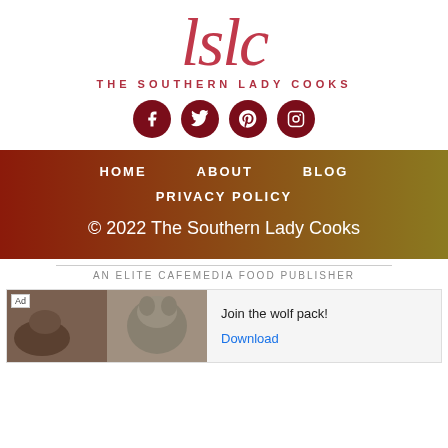[Figure (logo): The Southern Lady Cooks logo: cursive 'lslc' in red above the text 'THE SOUTHERN LADY COOKS' in spaced red capitals, with four social media icons (Facebook, Twitter, Pinterest, Instagram) below in dark red circles]
HOME   ABOUT   BLOG
PRIVACY POLICY
© 2022 The Southern Lady Cooks
AN ELITE CAFEMEDIA FOOD PUBLISHER
[Figure (photo): Advertisement banner showing wildlife images (bear, wolf) with text 'Join the wolf pack!' and a 'Download' button link]